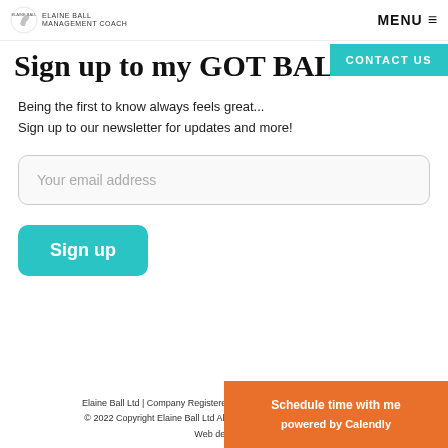ELAINE BALL | MENU ≡
CONTACT US
Sign up to my GOT BALLS Ne...
Being the first to know always feels great...
Sign up to our newsletter for updates and more!
Your email address
Sign up
Elaine Ball Ltd | Company Registered in England and Wales: 08543123
© 2022 Copyright Elaine Ball Ltd All Rights Reserved | Privacy Policy |
Web design by
Schedule time with me powered by Calendly